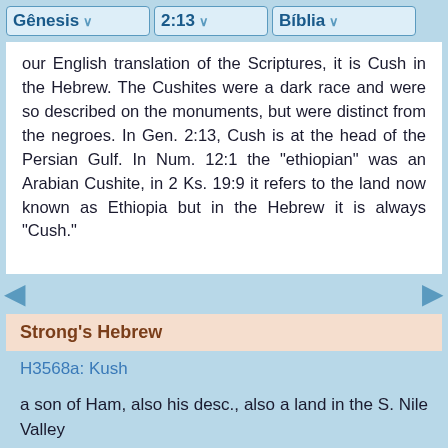Gênesis  2:13  Bíblia
our English translation of the Scriptures, it is Cush in the Hebrew. The Cushites were a dark race and were so described on the monuments, but were distinct from the negroes. In Gen. 2:13, Cush is at the head of the Persian Gulf. In Num. 12:1 the "ethiopian" was an Arabian Cushite, in 2 Ks. 19:9 it refers to the land now known as Ethiopia but in the Hebrew it is always "Cush."
Strong's Hebrew
H3568a: Kush
a son of Ham, also his desc., also a land in the S. Nile Valley